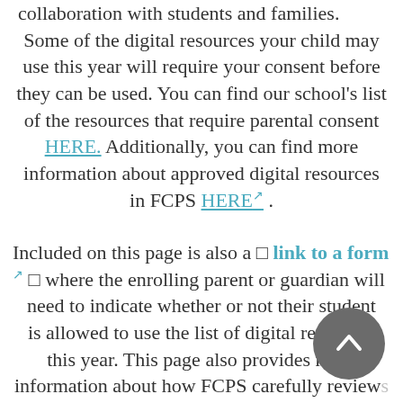collaboration with students and families. Some of the digital resources your child may use this year will require your consent before they can be used. You can find our school's list of the resources that require parental consent HERE. Additionally, you can find more information about approved digital resources in FCPS HERE .
Included on this page is also a 🔗 link to a form ↗ 🔗 where the enrolling parent or guardian will need to indicate whether or not their student is allowed to use the list of digital resources this year. This page also provides more information about how FCPS carefully reviews digital resources for approval and why we